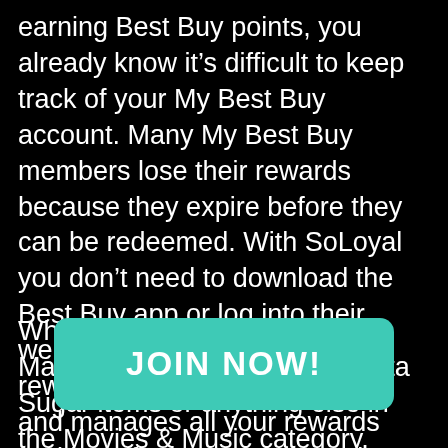earning Best Buy points, you already know it's difficult to keep track of your My Best Buy account. Many My Best Buy members lose their rewards because they expire before they can be redeemed. With SoLoyal you don't need to download the Best Buy app or log into their website in order to track your rewards points. SoLoyal tracks and manages all your rewards and benefits at Best Buy and hundreds of other brands.
When you purchase Samantha Martin, Samantha Martin & Delta Sugar items or anything else in the Movies & Music category, SoLoyal checks if there are any members-only benefits that are available to this item, or if Best Buy's Music has there are exclusive member offers that are
[Figure (other): A teal/green rounded rectangle button with white bold text reading 'JOIN NOW!' overlaid on the lower portion of the page]